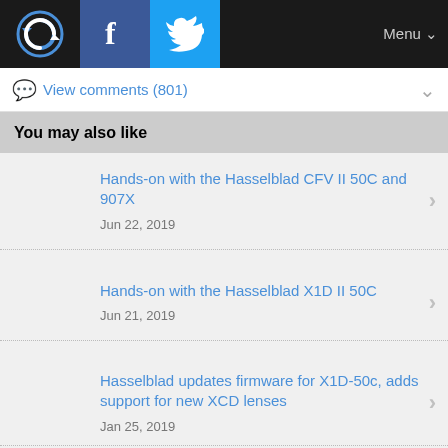Navigation bar with logo, Facebook, Twitter, Menu
View comments (801)
You may also like
Hands-on with the Hasselblad CFV II 50C and 907X
Jun 22, 2019
Hands-on with the Hasselblad X1D II 50C
Jun 21, 2019
Hasselblad updates firmware for X1D-50c, adds support for new XCD lenses
Jan 25, 2019